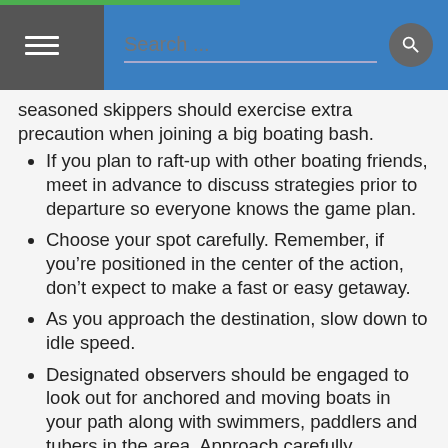Search ...
seasoned skippers should exercise extra precaution when joining a big boating bash.
If you plan to raft-up with other boating friends, meet in advance to discuss strategies prior to departure so everyone knows the game plan.
Choose your spot carefully. Remember, if you’re positioned in the center of the action, don’t expect to make a fast or easy getaway.
As you approach the destination, slow down to idle speed.
Designated observers should be engaged to look out for anchored and moving boats in your path along with swimmers, paddlers and tubers in the area. Approach carefully.
Once you’ve selected your location, the largest boat in the fleet should anchor first with appropriate line lengths, along with fenders extended on both sides.